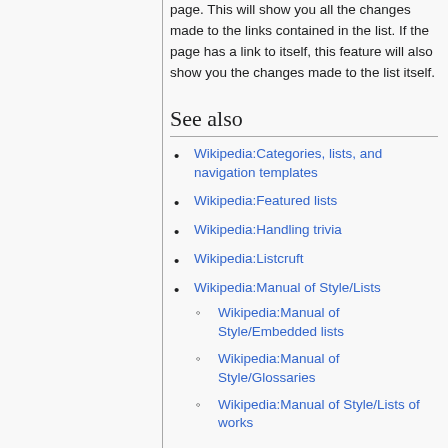page. This will show you all the changes made to the links contained in the list. If the page has a link to itself, this feature will also show you the changes made to the list itself.
See also
Wikipedia:Categories, lists, and navigation templates
Wikipedia:Featured lists
Wikipedia:Handling trivia
Wikipedia:Listcruft
Wikipedia:Manual of Style/Lists
Wikipedia:Manual of Style/Embedded lists
Wikipedia:Manual of Style/Glossaries
Wikipedia:Manual of Style/Lists of works